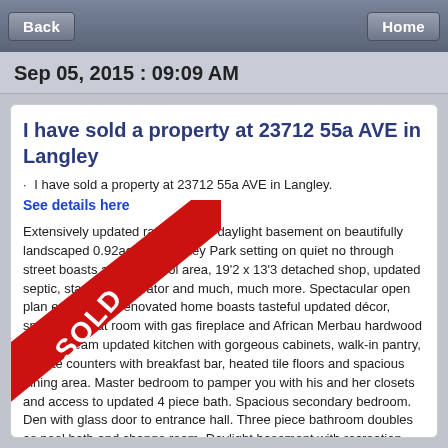Back  Home
Sep 05, 2015 : 09:09 AM
I have sold a property at 23712 55a AVE in Langley
I have sold a property at 23712 55a AVE in Langley.
See details here
Extensively updated rancher with daylight basement on beautifully landscaped 0.92ac with Stanley Park setting on quiet no through street boasts amazing pool area, 19'2 x 13'3 detached shop, updated septic, standby generator and much, much more. Spectacular open plan extensively renovated home boasts tasteful updated décor, spacious great room with gas fireplace and African Merbau hardwood floors, dream updated kitchen with gorgeous cabinets, walk-in pantry, granite counters with breakfast bar, heated tile floors and spacious dining area. Master bedroom to pamper you with his and her closets and access to updated 4 piece bath. Spacious secondary bedroom. Den with glass door to entrance hall. Three piece bathroom doubles as pool bath and change room. Daylight basement with recreation room with wet bar and door to covered patio, two bedrooms, three piece bath with sauna, dog grooming room, and storage room. Spectacular private yard with gorgeous landscaping highlighted with over 200 tons of rock